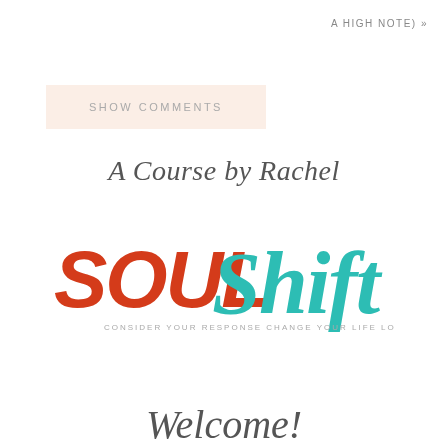A HIGH NOTE) »
SHOW COMMENTS
A Course by Rachel
[Figure (logo): SoulShift logo: 'SOUL' in bold red uppercase italic letters and 'Shift' in teal cursive script, with tagline 'CONSIDER YOUR RESPONSE. CHANGE YOUR LIFE. LOVE FOR REAL' below]
Welcome!